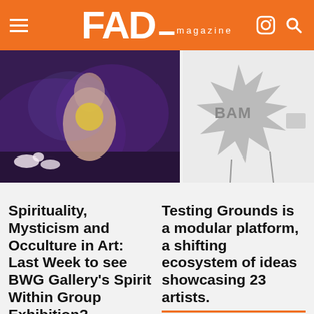FAD magazine
[Figure (photo): Dark painting of a figure with a yellow ball and white dogs on a purple background]
[Figure (photo): Black and white drawing of a comic-style 'BAM' explosion starburst on a white wall with a small object on the right]
Spirituality, Mysticism and Occulture in Art: Last Week to see BWG Gallery's Spirit Within Group Exhibition?
Curated by Jack Trodd, founder of BWG Gallery, Spirit Within brings together an exciting
Testing Grounds is a modular platform, a shifting ecosystem of ideas showcasing 23 artists.
Testing Grounds is a modular platform, a shifting ecosystem of ideas. Designed and curated by Hsi-Nong